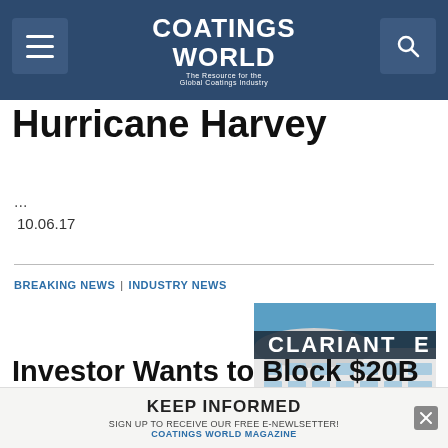Coatings World — The Resource for the Global Coatings Industry
Hurricane Harvey
...
10.06.17
BREAKING NEWS | INDUSTRY NEWS
[Figure (photo): Clariant building with signage on curved facade against blue sky]
Investor Wants to Block $20B Clariant-Huntsman Deal, Swiss Group Remains 'Full...
KEEP INFORMED — SIGN UP TO RECEIVE OUR FREE E-NEWSLETTER! COATINGS WORLD MAGAZINE